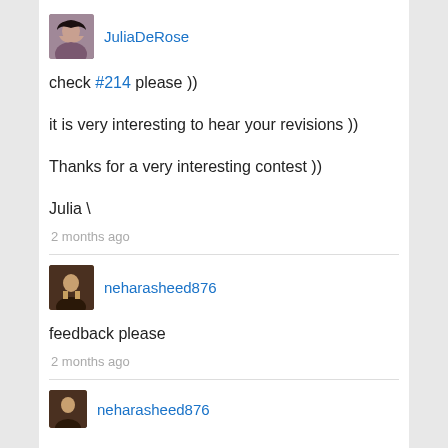JuliaDeRose
check #214 please ))
it is very interesting to hear your revisions ))
Thanks for a very interesting contest ))
Julia \
2 months ago
neharasheed876
feedback please
2 months ago
neharasheed876